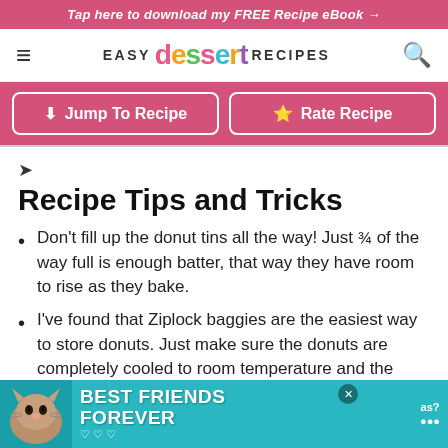Tap here to download my FREE Recipe eBook →
EASY dessert RECIPES
↓ Jump To Recipe   ★ Rate Recipe
Recipe Tips and Tricks
Don't fill up the donut tins all the way! Just ¾ of the way full is enough batter, that way they have room to rise as they bake.
I've found that Ziplock baggies are the easiest way to store donuts. Just make sure the donuts are completely cooled to room temperature and the glaze has dried before storing.
[Figure (infographic): BEST FRIENDS FOREVER advertisement banner with cat image and teal background]